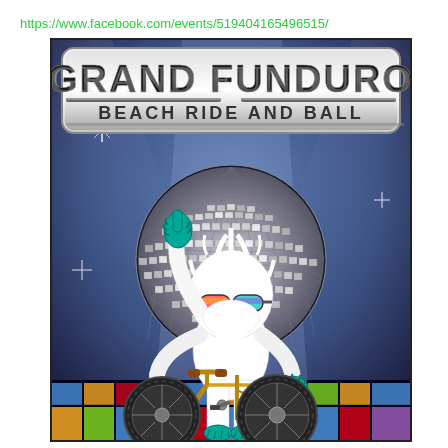https://www.facebook.com/events/519404165496515/
[Figure (illustration): Grand Funduro Beach Ride and Ball event poster featuring a yeti/sasquatch character wearing rainbow goggles and a white disco suit, riding a fat-tire bicycle in front of a large disco ball, with stage lights in the background and a colorful tiled disco floor in the foreground. The logo at the top reads 'GRAND FUNDURO' with 'BEACH RIDE AND BALL' subtitle in a chrome/metallic style.]